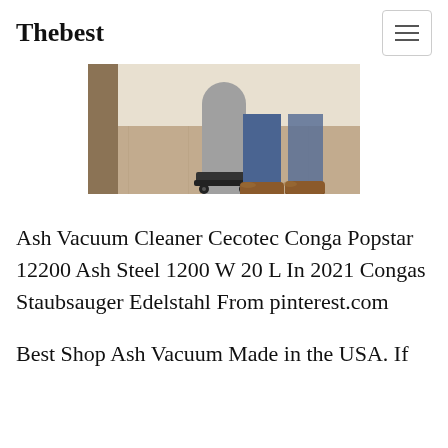Thebest
[Figure (photo): A photo showing the lower portion of a person wearing jeans and brown leather shoes, standing on an outdoor stone/tile surface near a cylindrical post or column base with a wheeled platform.]
Ash Vacuum Cleaner Cecotec Conga Popstar 12200 Ash Steel 1200 W 20 L In 2021 Congas Staubsauger Edelstahl From pinterest.com
Best Shop Ash Vacuum Made in the USA. If